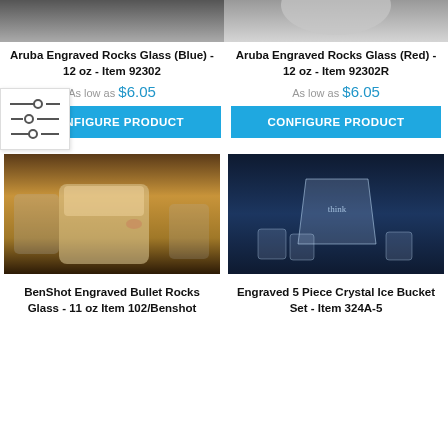[Figure (photo): Top portion of engraved rocks glass (blue), partially cropped]
Aruba Engraved Rocks Glass (Blue) - 12 oz - Item 92302
As low as $6.05
CONFIGURE PRODUCT
[Figure (photo): Top portion of engraved rocks glass (red), partially cropped]
Aruba Engraved Rocks Glass (Red) - 12 oz - Item 92302R
As low as $6.05
CONFIGURE PRODUCT
[Figure (photo): BenShot engraved bullet rocks glass with whiskey, 11 oz]
BenShot Engraved Bullet Rocks Glass - 11 oz Item 102/Benshot
[Figure (photo): Engraved 5 piece crystal ice bucket set with branded glassware on dark background]
Engraved 5 Piece Crystal Ice Bucket Set - Item 324A-5